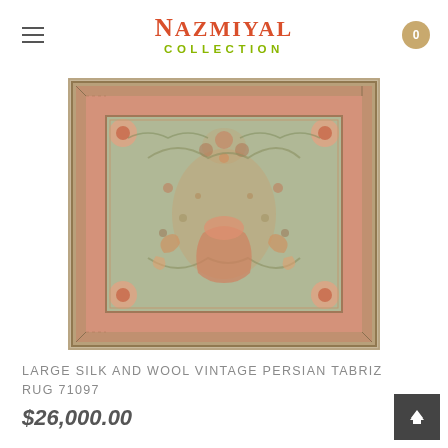Nazmiyal Collection
[Figure (photo): Photograph of a large silk and wool vintage Persian Tabriz rug with floral and medallion patterns in muted pink, green, and gold tones]
LARGE SILK AND WOOL VINTAGE PERSIAN TABRIZ RUG 71097
$26,000.00